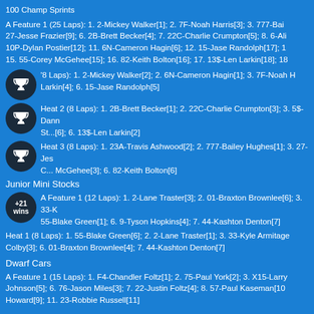100 Champ Sprints
A Feature 1 (25 Laps): 1. 2-Mickey Walker[1]; 2. 7F-Noah Harris[3]; 3. 777-Bailey Hughes[...]; ... 27-Jesse Frazier[9]; 6. 2B-Brett Becker[4]; 7. 22C-Charlie Crumpton[5]; 8. 6-Ali...; 10P-Dylan Postier[12]; 11. 6N-Cameron Hagin[6]; 12. 15-Jase Randolph[17]; 1... 15. 55-Corey McGehee[15]; 16. 82-Keith Bolton[16]; 17. 13$-Len Larkin[18]; 18...
Heat 1 (8 Laps): 1. 2-Mickey Walker[2]; 2. 6N-Cameron Hagin[1]; 3. 7F-Noah H...; Larkin[4]; 6. 15-Jase Randolph[5]
Heat 2 (8 Laps): 1. 2B-Brett Becker[1]; 2. 22C-Charlie Crumpton[3]; 3. 5$-Dann...; St...[6]; 6. 13$-Len Larkin[2]
Heat 3 (8 Laps): 1. 23A-Travis Ashwood[2]; 2. 777-Bailey Hughes[1]; 3. 27-Jes...; C... McGehee[3]; 6. 82-Keith Bolton[6]
Junior Mini Stocks
A Feature 1 (12 Laps): 1. 2-Lane Traster[3]; 2. 01-Braxton Brownlee[6]; 3. 33-K...; 55-Blake Green[1]; 6. 9-Tyson Hopkins[4]; 7. 44-Kashton Denton[7]
Heat 1 (8 Laps): 1. 55-Blake Green[6]; 2. 2-Lane Traster[1]; 3. 33-Kyle Armitage...; Colby[3]; 6. 01-Braxton Brownlee[4]; 7. 44-Kashton Denton[7]
Dwarf Cars
A Feature 1 (15 Laps): 1. F4-Chandler Foltz[1]; 2. 75-Paul York[2]; 3. X15-Larry...; Johnson[5]; 6. 76-Jason Miles[3]; 7. 22-Justin Foltz[4]; 8. 57-Paul Kaseman[10...; Howard[9]; 11. 23-Robbie Russell[11]